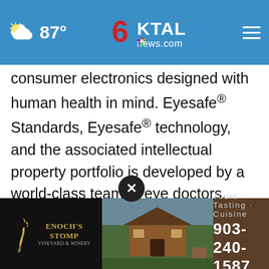87° KTAL news.com
consumer electronics designed with human health in mind. Eyesafe® Standards, Eyesafe® technology, and the associated intellectual property portfolio is developed by a world-class team of eye doctors, engineers, and scientists with decades of experience in electronics, display materials, light management, optometry, and ophthalmology. The Eyesafe brand is trusted by consumers and integrated in millions of digital devices from Dell, HP, Lenovo, ZAGG and related
[Figure (advertisement): Enoch's Stomp Vineyard & Winery ad with bird logo, Tours · Tasting · Cuisine, 903-240-1587]